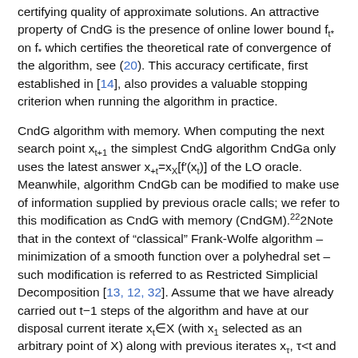certifying quality of approximate solutions. An attractive property of CndG is the presence of online lower bound f_{t*} on f_* which certifies the theoretical rate of convergence of the algorithm, see (20). This accuracy certificate, first established in [14], also provides a valuable stopping criterion when running the algorithm in practice.
CndG algorithm with memory. When computing the next search point x_{t+1} the simplest CndG algorithm CndGa only uses the latest answer x_{+t}=x_X[f'(x_t)] of the LO oracle. Meanwhile, algorithm CndGb can be modified to make use of information supplied by previous oracle calls; we refer to this modification as CndG with memory (CndGM).^{22}2Note that in the context of "classical" Frank-Wolfe algorithm – minimization of a smooth function over a polyhedral set – such modification is referred to as Restricted Simplicial Decomposition [13, 12, 32]. Assume that we have already carried out t-1 steps of the algorithm and have at our disposal current iterate x_t ∈ X (with x_1 selected as an arbitrary point of X) along with previous iterates x_τ, τ<t and the vectors f'(x_τ), x_{+τ}=x_X[f'(x_τ)]. At the step, we compute f'(x_t) and x_{+t}=x_X[f'(x_t)]. Thus, at this point in time we have at our disposal 2t points x_τ,x_{+τ}, 1≤τ≤t, which